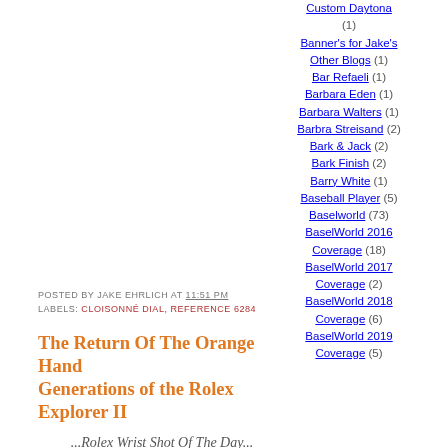POSTED BY JAKE EHRLICH AT 11:51 PM
LABELS: CLOISONNÉ DIAL, REFERENCE 6284
The Return Of The Orange Hand Generations of the Rolex Explorer II
...Rolex Wrist Shot Of The Day...
The Return Of The Orange
Custom Daytona (1)
Banner's for Jake's Other Blogs (1)
Bar Refaeli (1)
Barbara Eden (1)
Barbara Walters (1)
Barbra Streisand (2)
Bark & Jack (2)
Bark Finish (2)
Barry White (1)
Baseball Player (5)
Baselworld (73)
BaselWorld 2016 Coverage (18)
BaselWorld 2017 Coverage (2)
BaselWorld 2018 Coverage (6)
BaselWorld 2019 Coverage (5)